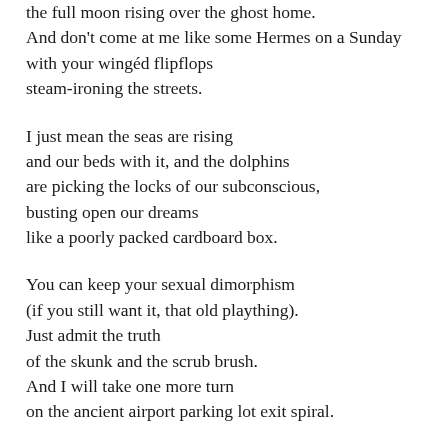the full moon rising over the ghost home.
And don't come at me like some Hermes on a Sunday
with your wingéd flipflops
steam-ironing the streets.

I just mean the seas are rising
and our beds with it, and the dolphins
are picking the locks of our subconscious,
busting open our dreams
like a poorly packed cardboard box.

You can keep your sexual dimorphism
(if you still want it, that old plaything).
Just admit the truth
of the skunk and the scrub brush.
And I will take one more turn
on the ancient airport parking lot exit spiral.

You won't get any medals but go ahead and say it:
the nuclear family tract home choo-choo pollution puke fest